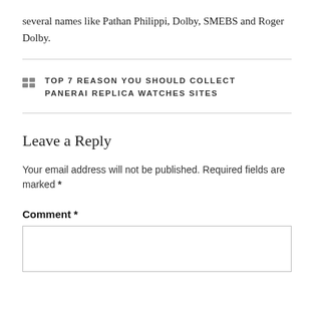several names like Pathan Philippi, Dolby, SMEBS and Roger Dolby.
TOP 7 REASON YOU SHOULD COLLECT PANERAI REPLICA WATCHES SITES
Leave a Reply
Your email address will not be published. Required fields are marked *
Comment *